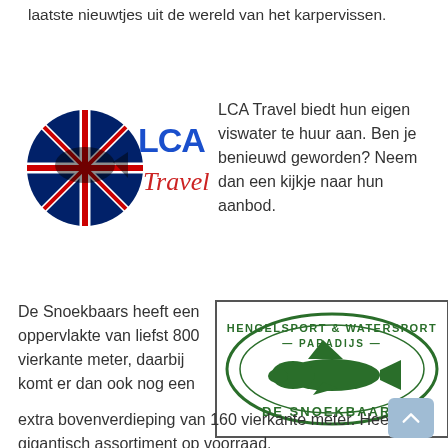laatste nieuwtjes uit de wereld van het karpervissen.
[Figure (logo): LCA Travel logo with UK flag and carp fish, text 'LCA Travel' in blue and red italic]
LCA Travel biedt hun eigen viswater te huur aan. Ben je benieuwd geworden? Neem dan een kijkje naar hun aanbod.
De Snoekbaars heeft een oppervlakte van liefst 800 vierkante meter, daarbij komt er dan ook nog een extra bovenverdieping van 160 vierkante meter. Heeft een gigantisch assortiment op voorraad.
[Figure (logo): Hengelsport & Watersport Paradijs De Snoekbaars logo with green oval border, fish illustration and green text]